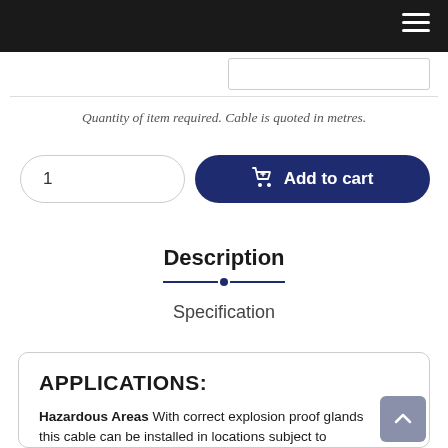Quantity of item required. Cable is quoted in metres.
1
Add to cart
Description
Specification
APPLICATIONS:
Hazardous Areas With correct explosion proof glands this cable can be installed in locations subject to